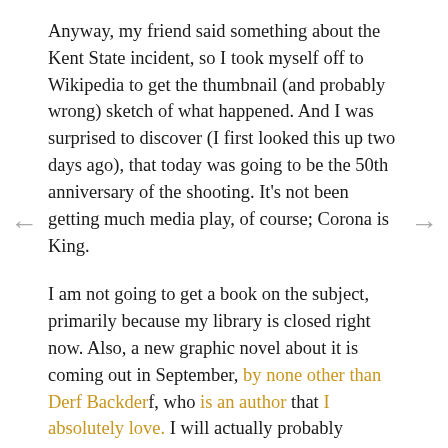Anyway, my friend said something about the Kent State incident, so I took myself off to Wikipedia to get the thumbnail (and probably wrong) sketch of what happened. And I was surprised to discover (I first looked this up two days ago), that today was going to be the 50th anniversary of the shooting. It's not been getting much media play, of course; Corona is King.
I am not going to get a book on the subject, primarily because my library is closed right now. Also, a new graphic novel about it is coming out in September, by none other than Derf Backderf, who is an author that I absolutely love. I will actually probably overcome my cheap nature and just buy a copy of it, because Derf Backderf should be